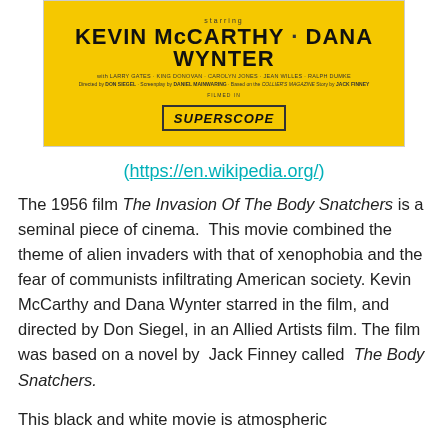[Figure (photo): Movie poster for 'Invasion of the Body Snatchers' (1956) featuring Kevin McCarthy and Dana Wynter on a yellow background, filmed in Superscope]
(https://en.wikipedia.org/)
The 1956 film The Invasion Of The Body Snatchers is a seminal piece of cinema. This movie combined the theme of alien invaders with that of xenophobia and the fear of communists infiltrating American society. Kevin McCarthy and Dana Wynter starred in the film, and directed by Don Siegel, in an Allied Artists film. The film was based on a novel by Jack Finney called The Body Snatchers.
This black and white movie is atmospheric